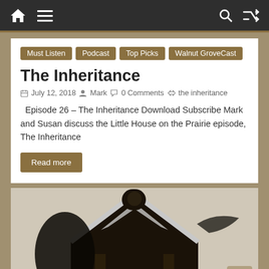Navigation bar with home, menu, search, and shuffle icons
Must Listen
Podcast
Top Picks
Walnut GroveCast
The Inheritance
July 12, 2018  Mark  0 Comments  the inheritance
Episode 26 – The Inheritance Download Subscribe Mark and Susan discuss the Little House on the Prairie episode, The Inheritance
Read more
[Figure (illustration): Partial illustration of a house shape with dark silhouette and text THE BULLY BOYS at the bottom, partially cropped]